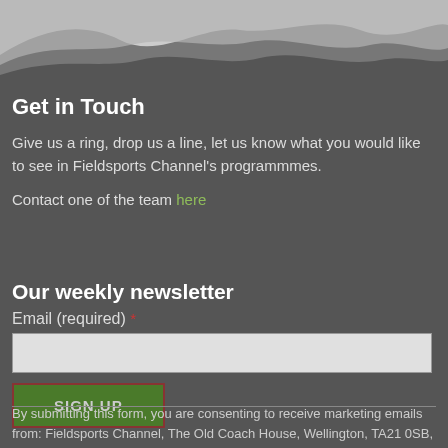[Figure (illustration): Decorative wave shapes at top of page in white and grey tones on dark grey background]
Get in Touch
Give us a ring, drop us a line, let us know what you would like to see in Fieldsports Channel's programmmes.
Contact one of the team here
Our weekly newsletter
Email (required) *
SIGN UP
By submitting this form, you are consenting to receive marketing emails from: Fieldsports Channel, The Old Coach House, Wellington, TA21 0SB, http://www.fieldsportschannel.tv. You can revoke your consent to